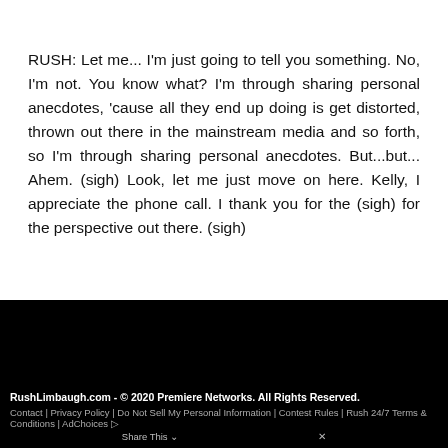RUSH: Let me... I'm just going to tell you something. No, I'm not. You know what? I'm through sharing personal anecdotes, 'cause all they end up doing is get distorted, thrown out there in the mainstream media and so forth, so I'm through sharing personal anecdotes. But...but... Ahem. (sigh) Look, let me just move on here. Kelly, I appreciate the phone call. I thank you for the (sigh) for the perspective out there. (sigh)
RushLimbaugh.com - © 2020 Premiere Networks. All Rights Reserved. Contact | Privacy Policy | Do Not Sell My Personal Information | Contest Rules | Rush 24/7 Terms & Conditions | AdChoices ▷ Share This ∨ ✕